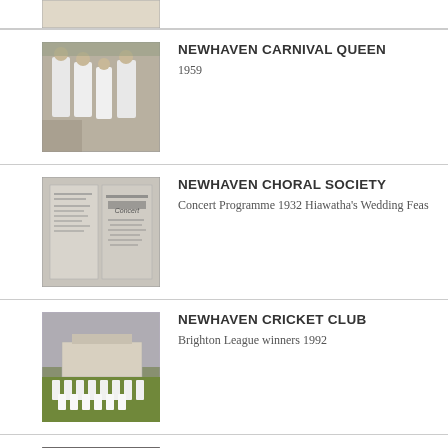[Figure (photo): Partial view of a light-coloured photo (cropped at top)]
[Figure (photo): Black and white photo of girls in white dresses, likely Carnival Queen 1959]
NEWHAVEN CARNIVAL QUEEN
1959
[Figure (photo): Scan of a concert programme booklet for Newhaven Choral Society 1932]
NEWHAVEN CHORAL SOCIETY
Concert Programme 1932 Hiawatha's Wedding Feast
[Figure (photo): Colour photo of Newhaven Cricket Club team, Brighton League winners 1992]
NEWHAVEN CRICKET CLUB
Brighton League winners 1992
[Figure (photo): Black and white photo of Newhaven Cubs 1919]
NEWHAVEN CUBS
1919